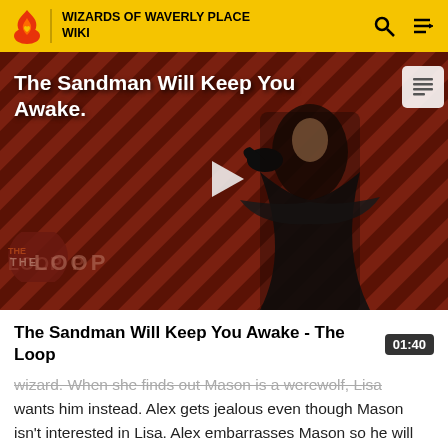WIZARDS OF WAVERLY PLACE WIKI
[Figure (screenshot): Video thumbnail showing a dark-robed figure with a crow against a red and black diagonal striped background. Title overlay reads 'The Sandman Will Keep You Awake.' with The Loop watermark at the bottom. A play button is centered over the image.]
The Sandman Will Keep You Awake - The Loop
wizard. When she finds out Mason is a werewolf, Lisa wants him instead. Alex gets jealous even though Mason isn't interested in Lisa. Alex embarrasses Mason so he will wolf up and the Cucuv's will be scared and won't let Lisa